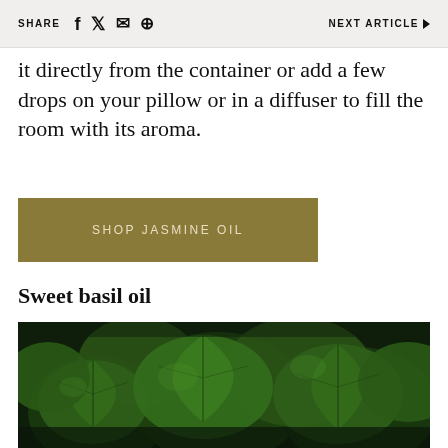SHARE  NEXT ARTICLE ▶
it directly from the container or add a few drops on your pillow or in a diffuser to fill the room with its aroma.
SHOP JASMINE OIL
Sweet basil oil
[Figure (photo): Close-up photo of fresh dark green basil leaves with visible leaf veins and glossy surface.]